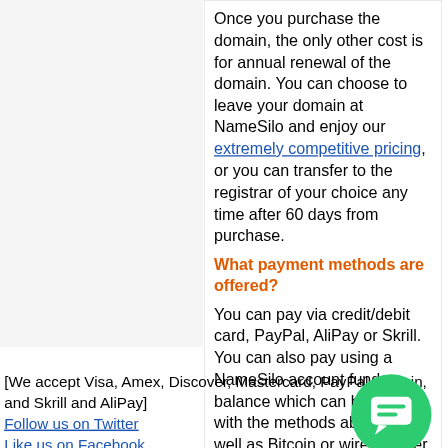Once you purchase the domain, the only other cost is for annual renewal of the domain. You can choose to leave your domain at NameSilo and enjoy our extremely competitive pricing, or you can transfer to the registrar of your choice any time after 60 days from purchase.
What payment methods are offered?
You can pay via credit/debit card, PayPal, AliPay or Skrill. You can also pay using a NameSilo account funds balance which can be funded with the methods above as well as Bitcoin or wire transfer.
[Figure (other): We accept Visa, Amex, Discover, Mastercard, PayPal, Bitcoin, and Skrill and AliPay payment logos]
Follow us on Twitter
Like us on Facebook
[Figure (other): NameSilo is proud to be an ICANN-accredited registrar logo/badge]
[Figure (other): Green circular chat/messaging button with speech bubble icon]